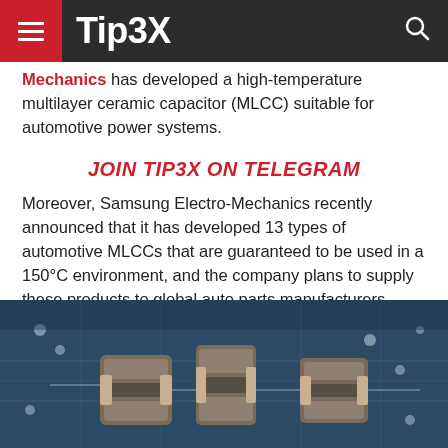Tip3X
Mechanics has developed a high-temperature multilayer ceramic capacitor (MLCC) suitable for automotive power systems.
JOIN TIP3X ON TELEGRAM
Moreover, Samsung Electro-Mechanics recently announced that it has developed 13 types of automotive MLCCs that are guaranteed to be used in a 150°C environment, and the company plans to supply these products to global auto parts manufacturers.
[Figure (photo): Close-up photo of three ceramic capacitors (MLCCs) mounted on a blue printed circuit board (PCB) with visible circuit traces and solder pads.]